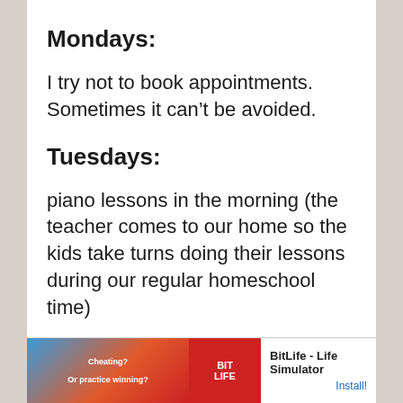Mondays:
I try not to book appointments. Sometimes it can't be avoided.
Tuesdays:
piano lessons in the morning (the teacher comes to our home so the kids take turns doing their lessons during our regular homeschool time)
Snuggle Puppy's program for trauma and attachment
[Figure (other): Advertisement banner for BitLife - Life Simulator app with logo and Install button]